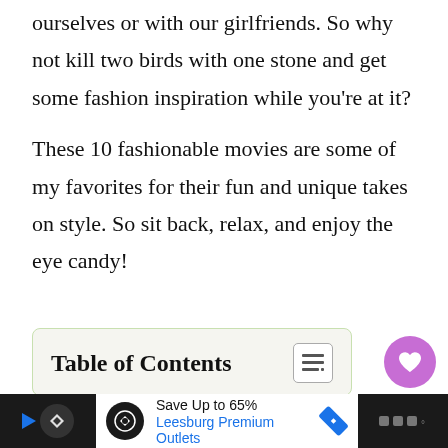ourselves or with our girlfriends. So why not kill two birds with one stone and get some fashion inspiration while you're at it?
These 10 fashionable movies are some of my favorites for their fun and unique takes on style. So sit back, relax, and enjoy the eye candy!
Table of Contents
[Figure (other): Advertisement bar: Save Up to 65% Leesburg Premium Outlets with navigation icon]